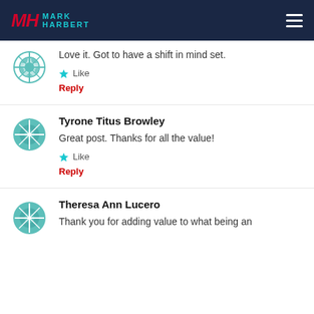Mark Harbert
Love it. Got to have a shift in mind set.
Like
Reply
Tyrone Titus Browley
Great post. Thanks for all the value!
Like
Reply
Theresa Ann Lucero
Thank you for adding value to what being an